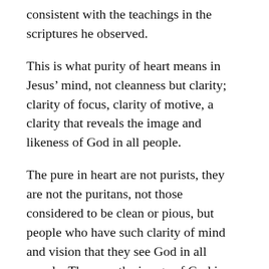consistent with the teachings in the scriptures he observed.
This is what purity of heart means in Jesus’ mind, not cleanness but clarity; clarity of focus, clarity of motive, a clarity that reveals the image and likeness of God in all people.
The pure in heart are not purists, they are not the puritans, not those considered to be clean or pious, but people who have such clarity of mind and vision that they see God in all people. They see the image of God in those who are marginalised, or maligned, or messy.
The pure in heart see God in others all around